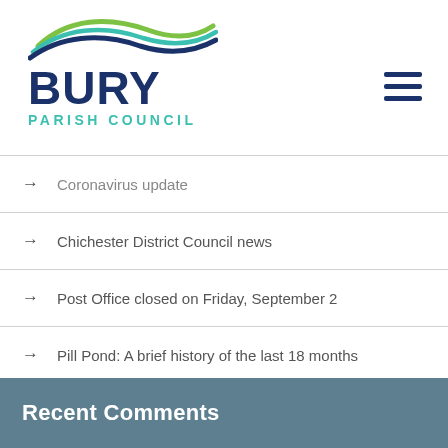[Figure (logo): Bury Parish Council logo with wave graphic in green and blue, bold navy BURY text, and teal PARISH COUNCIL text]
→ Coronavirus update
→ Chichester District Council news
→ Post Office closed on Friday, September 2
→ Pill Pond: A brief history of the last 18 months
Recent Comments